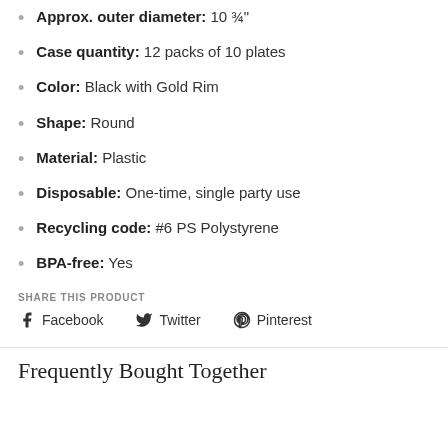Approx. outer diameter: 10 ¾"
Case quantity: 12 packs of 10 plates
Color: Black with Gold Rim
Shape: Round
Material: Plastic
Disposable: One-time, single party use
Recycling code: #6 PS Polystyrene
BPA-free: Yes
SHARE THIS PRODUCT
Facebook  Twitter  Pinterest
Frequently Bought Together